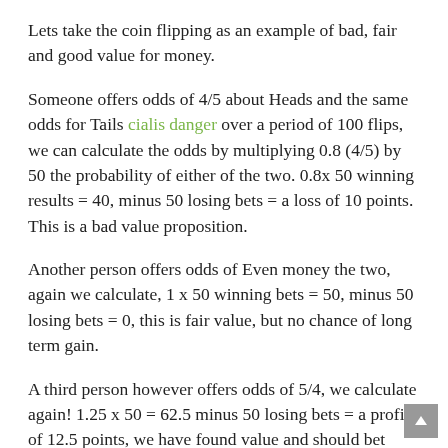Lets take the coin flipping as an example of bad, fair and good value for money.
Someone offers odds of 4/5 about Heads and the same odds for Tails cialis danger over a period of 100 flips, we can calculate the odds by multiplying 0.8 (4/5) by 50 the probability of either of the two. 0.8x 50 winning results = 40, minus 50 losing bets = a loss of 10 points. This is a bad value proposition.
Another person offers odds of Even money the two, again we calculate, 1 x 50 winning bets = 50, minus 50 losing bets = 0, this is fair value, but no chance of long term gain.
A third person however offers odds of 5/4, we calculate again! 1.25 x 50 = 62.5 minus 50 losing bets = a profit of 12.5 points, we have found value and should bet